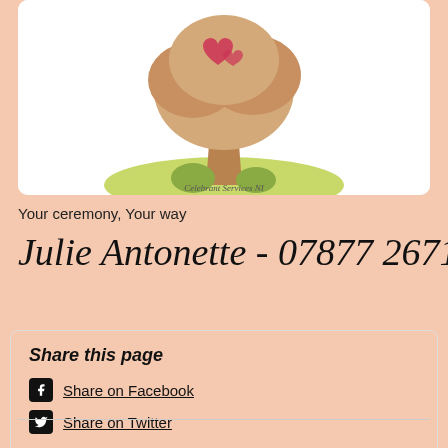[Figure (illustration): Illustration of a tree with heart shapes, on a green hill with text 'Celebrant Services NI' at the base, inside a white rounded box]
Your ceremony, Your way
Julie Antonette - 07877 267180
Share this page
Share on Facebook
Share on Twitter